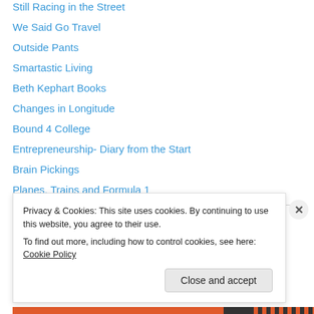Still Racing in the Street
We Said Go Travel
Outside Pants
Smartastic Living
Beth Kephart Books
Changes in Longitude
Bound 4 College
Entrepreneurship- Diary from the Start
Brain Pickings
Planes, Trains and Formula 1
Alumni Resources
Privacy & Cookies: This site uses cookies. By continuing to use this website, you agree to their use.
To find out more, including how to control cookies, see here: Cookie Policy